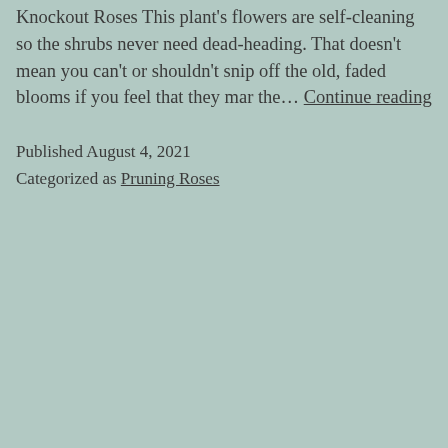Knockout Roses This plant's flowers are self-cleaning so the shrubs never need dead-heading. That doesn't mean you can't or shouldn't snip off the old, faded blooms if you feel that they mar the… Continue reading
Published August 4, 2021
Categorized as Pruning Roses